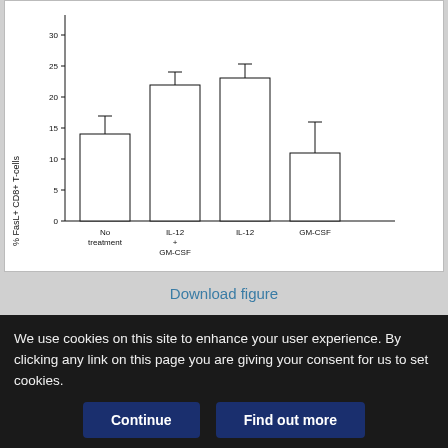[Figure (bar-chart): ]
Download figure
Open in new tab
Download powerpoint
FIGURE 7.
Specific roles of IL-12 and GM-CSF in T-cell activation and apoptosis. A
We use cookies on this site to enhance your user experience. By clicking any link on this page you are giving your consent for us to set cookies.